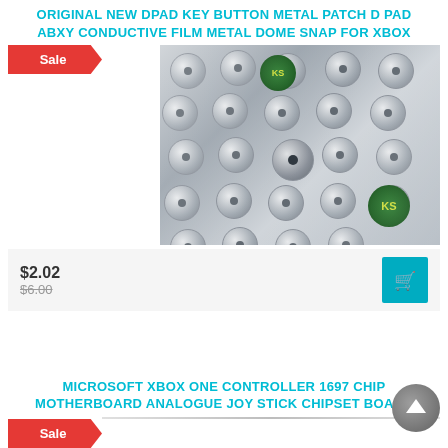ORIGINAL NEW DPAD KEY BUTTON METAL PATCH D PAD ABXY CONDUCTIVE FILM METAL DOME SNAP FOR XBOX
[Figure (photo): Product photo showing multiple silver/white metal dome snap conductive film patches for Xbox controller DPAD ABXY buttons, with KS brand logo visible twice on the image]
$2.02
$6.00 (strikethrough)
MICROSOFT XBOX ONE CONTROLLER 1697 CHIP MOTHERBOARD ANALOGUE JOY STICK CHIPSET BOARD